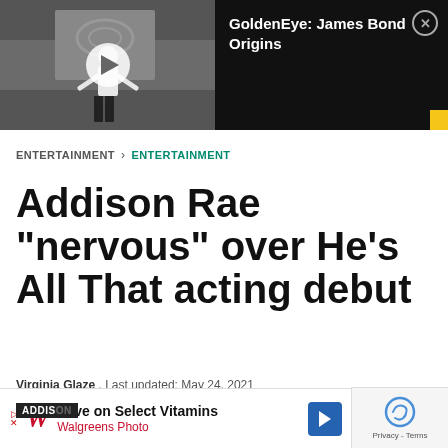[Figure (screenshot): Video thumbnail showing a GoldenEye James Bond Origins video with a character in a white tuxedo on a stage, with a play button overlay. Title reads 'GoldenEye: James Bond Origins' on a black background with a close button.]
ENTERTAINMENT > ENTERTAINMENT
Addison Rae “nervous” over He’s All That acting debut
Virginia Glaze . Last updated: May 24, 2021
[Figure (screenshot): Advertisement bar showing Walgreens Photo ad: 'Save on Select Vitamins' with Walgreens logo, a navigation arrow icon, and a reCAPTCHA privacy box.]